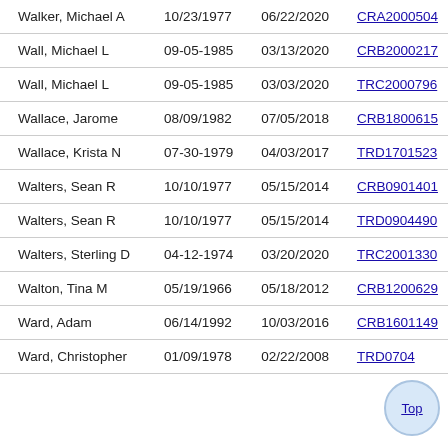| Name | DOB | Date | Case |
| --- | --- | --- | --- |
| Walker, Michael A | 10/23/1977 | 06/22/2020 | CRA2000504 |
| Wall, Michael L | 09-05-1985 | 03/13/2020 | CRB2000217 |
| Wall, Michael L | 09-05-1985 | 03/03/2020 | TRC2000796 |
| Wallace, Jarome | 08/09/1982 | 07/05/2018 | CRB1800615 |
| Wallace, Krista N | 07-30-1979 | 04/03/2017 | TRD1701523 |
| Walters, Sean R | 10/10/1977 | 05/15/2014 | CRB0901401 |
| Walters, Sean R | 10/10/1977 | 05/15/2014 | TRD0904490 |
| Walters, Sterling D | 04-12-1974 | 03/20/2020 | TRC2001330 |
| Walton, Tina M | 05/19/1966 | 05/18/2012 | CRB1200629 |
| Ward, Adam | 06/14/1992 | 10/03/2016 | CRB1601149 |
| Ward, Christopher | 01/09/1978 | 02/22/2008 | TRD0704... |